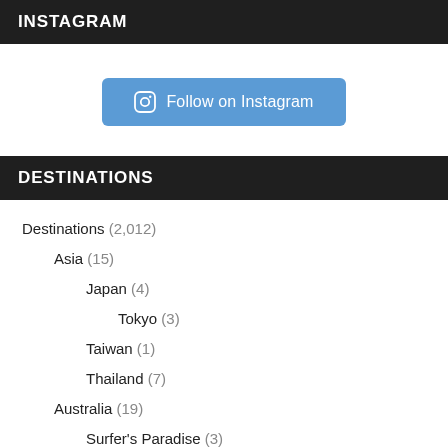INSTAGRAM
[Figure (other): Follow on Instagram button with Instagram icon]
DESTINATIONS
Destinations (2,012)
Asia (15)
Japan (4)
Tokyo (3)
Taiwan (1)
Thailand (7)
Australia (19)
Surfer's Paradise (3)